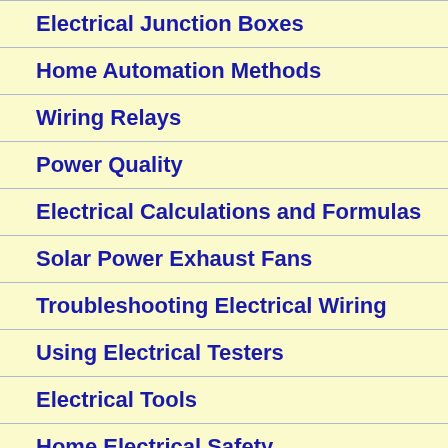Electrical Junction Boxes
Home Automation Methods
Wiring Relays
Power Quality
Electrical Calculations and Formulas
Solar Power Exhaust Fans
Troubleshooting Electrical Wiring
Using Electrical Testers
Electrical Tools
Home Electrical Safety
Home Construction Safety
Electrical Wiring Questions